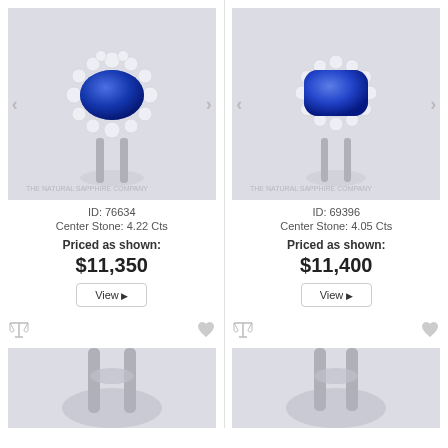[Figure (photo): Oval blue sapphire ring with diamond halo, white gold, watermark The Natural Sapphire Company]
ID: 76634
Center Stone: 4.22 Cts
Priced as shown:
$11,350
View ▶
[Figure (photo): Cushion blue sapphire ring with diamond halo, white gold, watermark The Natural Sapphire Company]
ID: 69396
Center Stone: 4.05 Cts
Priced as shown:
$11,400
View ▶
[Figure (photo): Bottom partial view of a sapphire ring, left column]
[Figure (photo): Bottom partial view of a sapphire ring, right column]